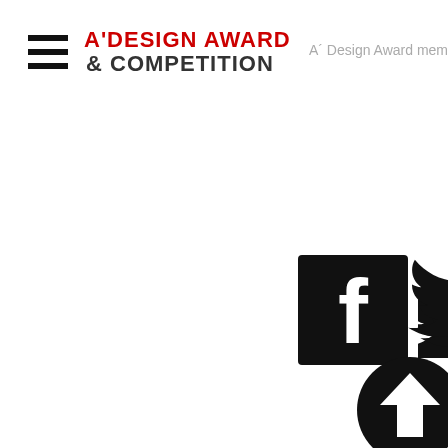[Figure (logo): A' Design Award & Competition logo with hamburger menu icon on left. Three horizontal black lines (menu icon) followed by 'A'DESIGN AWARD & COMPETITION' text where 'A'DESIGN AWARD' is in red and '& COMPETITION' is in dark gray/black.]
A´ Design Award mem
[Figure (illustration): Facebook logo icon - black square with white lowercase 'f' letter]
[Figure (illustration): Twitter bird logo icon - black silhouette of Twitter bird]
[Figure (illustration): Scroll to top button - black circle with white upward arrow inside]